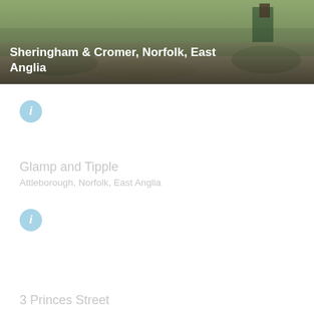[Figure (photo): Outdoor photo showing a grassy field with some structures visible, with white text overlay showing location name]
Sheringham & Cromer, Norfolk, East Anglia
[Figure (infographic): Blue circular info icon (i)]
Glamp and Tipple
Attleborough, Norfolk, East Anglia
[Figure (infographic): Blue circular info icon (i)]
3 Princes Street